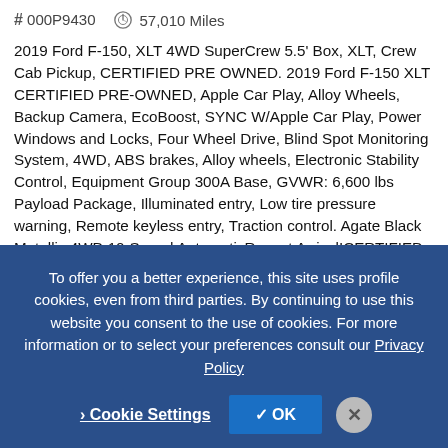# 000P9430   57,010 Miles
2019 Ford F-150, XLT 4WD SuperCrew 5.5' Box, XLT, Crew Cab Pickup, CERTIFIED PRE OWNED. 2019 Ford F-150 XLT CERTIFIED PRE-OWNED, Apple Car Play, Alloy Wheels, Backup Camera, EcoBoost, SYNC W/Apple Car Play, Power Windows and Locks, Four Wheel Drive, Blind Spot Monitoring System, 4WD, ABS brakes, Alloy wheels, Electronic Stability Control, Equipment Group 300A Base, GVWR: 6,600 lbs Payload Package, Illuminated entry, Low tire pressure warning, Remote keyless entry, Traction control. Agate Black Metallic 4WD 10-Speed AutomaticRecent Arrival!CERTIFIED PRE-OWNED! Koons of Silver Spring is America's fastest growing Pre-Owned Certified Ford, Mazda, Chevrolet, Honda, Toyota, GMC, Chrysler, Jeep, Dodge, Nissan dealer! All Pre-Owned Certified vehicles come
To offer you a better experience, this site uses profile cookies, even from third parties. By continuing to use this website you consent to the use of cookies. For more information or to select your preferences consult our Privacy Policy
Cookie Settings   ✓ OK   ✕